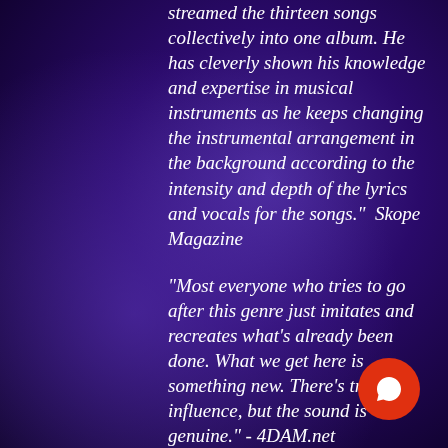streamed the thirteen songs collectively into one album. He has cleverly shown his knowledge and expertise in musical instruments as he keeps changing the instrumental arrangement in the background according to the intensity and depth of the lyrics and vocals for the songs." Skope Magazine
"Most everyone who tries to go after this genre just imitates and recreates what's already been done. What we get here is something new. There's traces of influence, but the sound is genuine." - 4DAM.net
"Azwel’s “From Now On” is studious, well-crafted pop made perfect. " - Skope Magazine
"If you are looking for a beautiful album